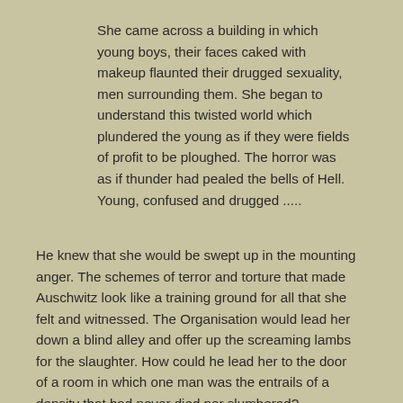She came across a building in which young boys, their faces caked with makeup flaunted their drugged sexuality, men surrounding them. She began to understand this twisted world which plundered the young as if they were fields of profit to be ploughed. The horror was as if thunder had pealed the bells of Hell. Young, confused and drugged .....
He knew that she would be swept up in the mounting anger. The schemes of terror and torture that made Auschwitz look like a training ground for all that she felt and witnessed. The Organisation would lead her down a blind alley and offer up the screaming lambs for the slaughter. How could he lead her to the door of a room in which one man was the entrails of a density that had never died nor slumbered?